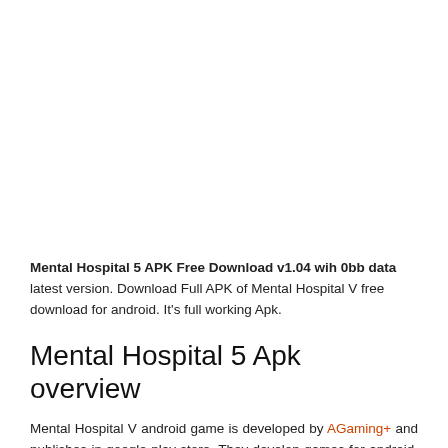[Figure (other): Blank white space at the top of the page, likely an image placeholder or advertisement area]
Mental Hospital 5 APK Free Download v1.04 wih 0bb data latest version. Download Full APK of Mental Hospital V free download for android. It's full working Apk.
Mental Hospital 5 Apk overview
Mental Hospital V android game is developed by AGaming+ and publishes in google play store. They develop games for android. It is an action android game that leads the player to the action creativity. This game is last updated on 19 November 2016 and has 5,000 plus downloads on play store. You can Mental Hospital 5 APK free